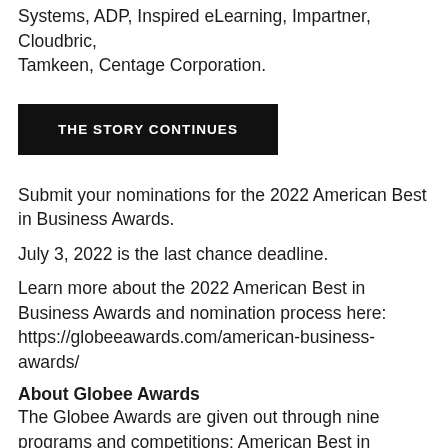Systems, ADP, Inspired eLearning, Impartner, Cloudbric, Tamkeen, Centage Corporation.
THE STORY CONTINUES
Submit your nominations for the 2022 American Best in Business Awards.
July 3, 2022 is the last chance deadline.
Learn more about the 2022 American Best in Business Awards and nomination process here: https://globeeawards.com/american-business-awards/
About Globee Awards
The Globee Awards are given out through nine programs and competitions: American Best in Business Awards, Business Excellence Awards, CEO World Awards®, Cyber